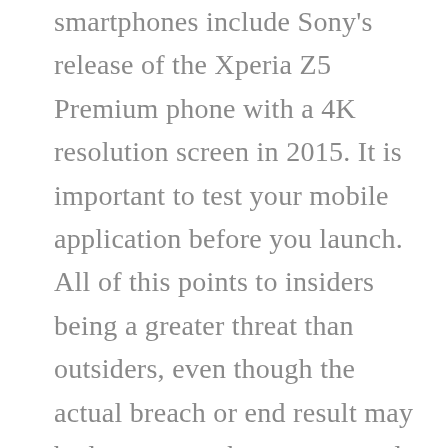smartphones include Sony's release of the Xperia Z5 Premium phone with a 4K resolution screen in 2015. It is important to test your mobile application before you launch. All of this points to insiders being a greater threat than outsiders, even though the actual breach or end result may be less severe than an external breach. If you’re getting new service with a new provider, you can expect to pay around $60 a month for 10GB of data. They should also provide regular training for employees to ensure security is always top of mind and advise everyone of the latest, most prominent threats they could face on a daily basis. You can tap into the network to stream your favorite shows, complete school